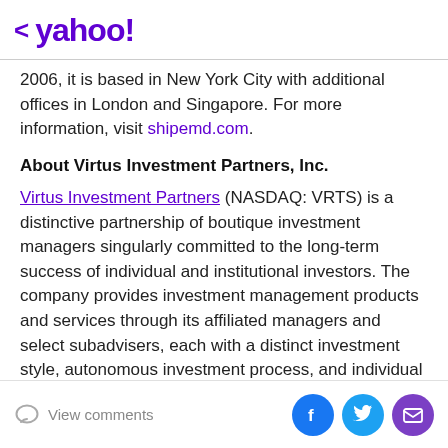< yahoo!
2006, it is based in New York City with additional offices in London and Singapore. For more information, visit shipemd.com.
About Virtus Investment Partners, Inc.
Virtus Investment Partners (NASDAQ: VRTS) is a distinctive partnership of boutique investment managers singularly committed to the long-term success of individual and institutional investors. The company provides investment management products and services through its affiliated managers and select subadvisers, each with a distinct investment style, autonomous investment process, and individual brand. For more
View comments